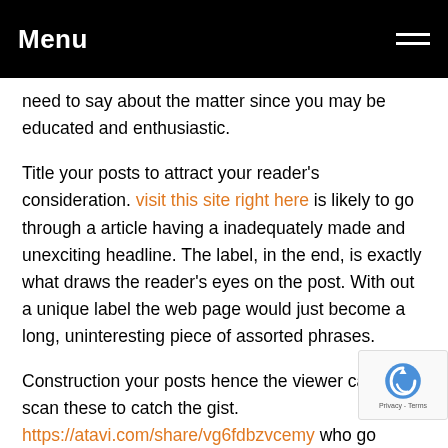Menu
need to say about the matter since you may be educated and enthusiastic.
Title your posts to attract your reader's consideration. visit this site right here is likely to go through a article having a inadequately made and unexciting headline. The label, in the end, is exactly what draws the reader's eyes on the post. With out a unique label the web page would just become a long, uninteresting piece of assorted phrases.
Construction your posts hence the viewer can easily scan these to catch the gist. https://atavi.com/share/vg6fdbzvcemy who go through blog sites are, generally speaking, an impatient They turn to and fro involving pages practically in the ra light-weight. In order to get your concept all over, provide them